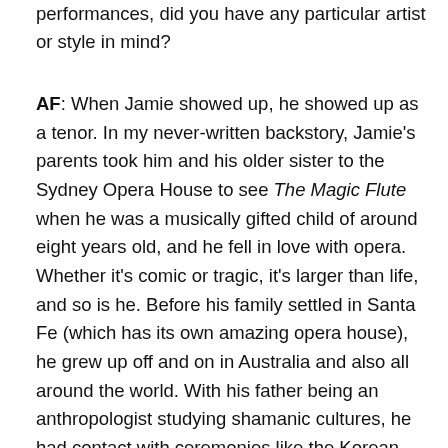performances, did you have any particular artist or style in mind?
AF: When Jamie showed up, he showed up as a tenor. In my never-written backstory, Jamie's parents took him and his older sister to the Sydney Opera House to see The Magic Flute when he was a musically gifted child of around eight years old, and he fell in love with opera. Whether it's comic or tragic, it's larger than life, and so is he. Before his family settled in Santa Fe (which has its own amazing opera house), he grew up off and on in Australia and also all around the world. With his father being an anthropologist studying shamanic cultures, he had contact with ceremonies like the Korean mudang's ritual described in Shaman's Blues. Such ceremonies have a lot of wild color and sound, music and dance.